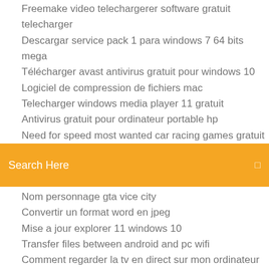Freemake video telechargerer software gratuit telecharger
Descargar service pack 1 para windows 7 64 bits mega
Télécharger avast antivirus gratuit pour windows 10
Logiciel de compression de fichiers mac
Telecharger windows media player 11 gratuit
Antivirus gratuit pour ordinateur portable hp
Need for speed most wanted car racing games gratuit
[Figure (screenshot): Orange search bar with text 'Search Here' and a small icon on the right]
Nom personnage gta vice city
Convertir un format word en jpeg
Mise a jour explorer 11 windows 10
Transfer files between android and pc wifi
Comment regarder la tv en direct sur mon ordinateur
Garrys mod darkrp serveur
Télécharger pinball space cadet for windows 7
Internet explorer 10 32 bit offline installer
Telecharger minecraft complet gratuit mac
Télécharger dernière version de whatsapp pour android